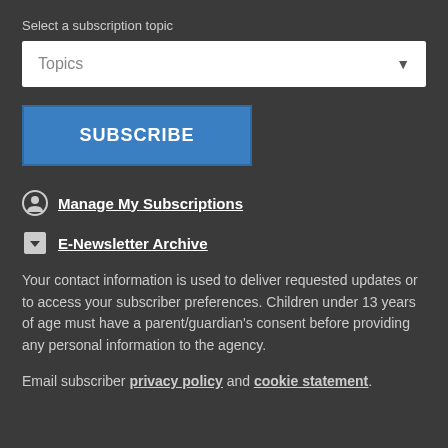Select a subscription topic
[Figure (screenshot): Dropdown selector labeled 'Topics' with a downward arrow on a white background]
[Figure (screenshot): Blue 'SUBSCRIBE' button]
Manage My Subscriptions
E-Newsletter Archive
Your contact information is used to deliver requested updates or to access your subscriber preferences. Children under 13 years of age must have a parent/guardian's consent before providing any personal information to the agency.
Email subscriber privacy policy and cookie statement.